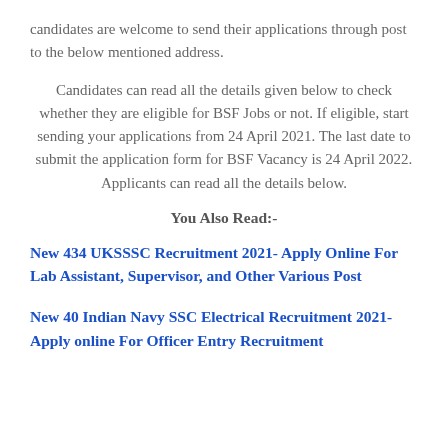candidates are welcome to send their applications through post to the below mentioned address.
Candidates can read all the details given below to check whether they are eligible for BSF Jobs or not. If eligible, start sending your applications from 24 April 2021. The last date to submit the application form for BSF Vacancy is 24 April 2022. Applicants can read all the details below.
You Also Read:-
New 434 UKSSSC Recruitment 2021- Apply Online For Lab Assistant, Supervisor, and Other Various Post
New 40 Indian Navy SSC Electrical Recruitment 2021- Apply online For Officer Entry Recruitment